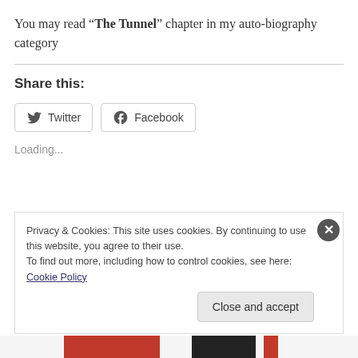You may read “The Tunnel” chapter in my auto-biography category
Share this:
Loading...
Privacy & Cookies: This site uses cookies. By continuing to use this website, you agree to their use.
To find out more, including how to control cookies, see here: Cookie Policy
Close and accept